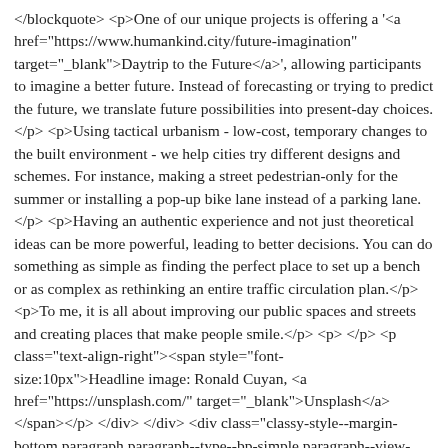</blockquote> <p>One of our unique projects is offering a '<a href="https://www.humankind.city/future-imagination" target="_blank">Daytrip to the Future</a>', allowing participants to imagine a better future. Instead of forecasting or trying to predict the future, we translate future possibilities into present-day choices.</p> <p>Using tactical urbanism - low-cost, temporary changes to the built environment - we help cities try different designs and schemes. For instance, making a street pedestrian-only for the summer or installing a pop-up bike lane instead of a parking lane.</p> <p>Having an authentic experience and not just theoretical ideas can be more powerful, leading to better decisions. You can do something as simple as finding the perfect place to set up a bench or as complex as rethinking an entire traffic circulation plan.</p> <p>To me, it is all about improving our public spaces and streets and creating places that make people smile.</p> <p> </p> <p class="text-align-right"><span style="font-size:10px">Headline image: Ronald Cuyan, <a href="https://unsplash.com/" target="_blank">Unsplash</a></span></p> </div> </div> <div class="classy-style--margin-bottom paragraph paragraph--type--bp-simple paragraph--view-mode--default paragraph--id--2991 paragraph--width--full" style=""> <div class="paragraph__column"> <hr /> <p>This content was originally published in the <a href="https://business-spirit.news/profit-with-purpose-magazine" target="_blank">Profit with Purpose Magazine</a>.</p> <p>Read more insights on